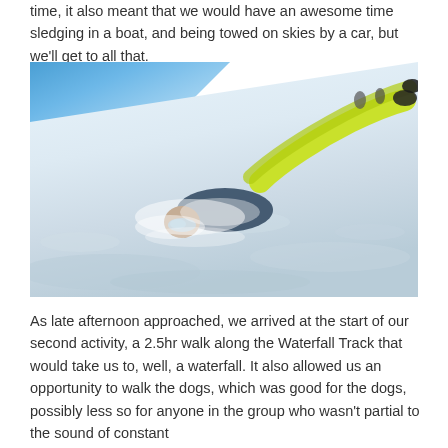time, it also meant that we would have an awesome time sledging in a boat, and being towed on skies by a car, but we'll get to all that.
[Figure (photo): A person in bright yellow-green ski pants and dark jacket sliding down a steep snow-covered mountain slope face-first, wearing goggles and surrounded by powder snow. Blue sky visible in upper left corner.]
As late afternoon approached, we arrived at the start of our second activity, a 2.5hr walk along the Waterfall Track that would take us to, well, a waterfall. It also allowed us an opportunity to walk the dogs, which was good for the dogs, possibly less so for anyone in the group who wasn't partial to the sound of constant